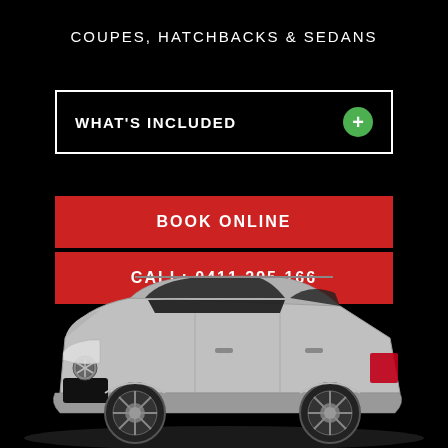COUPES, HATCHBACKS & SEDANS
WHAT'S INCLUDED
BOOK ONLINE
CALL: 0411 295 166
[Figure (photo): Silver Mercedes-Benz E-Class wagon/estate photographed from the front-left side angle against a black background]